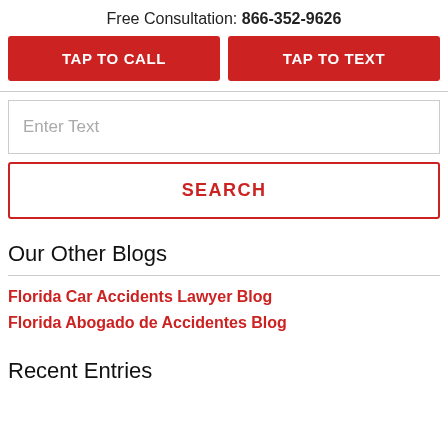Free Consultation: 866-352-9626
TAP TO CALL
TAP TO TEXT
Enter Text
SEARCH
Our Other Blogs
Florida Car Accidents Lawyer Blog
Florida Abogado de Accidentes Blog
Recent Entries